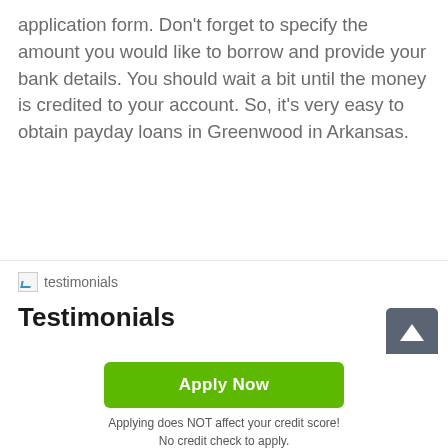application form. Don't forget to specify the amount you would like to borrow and provide your bank details. You should wait a bit until the money is credited to your account. So, it's very easy to obtain payday loans in Greenwood in Arkansas.
[Figure (illustration): Broken image placeholder labeled 'testimonials']
Testimonials
[Figure (other): Star rating row showing 4 out of 5 gold stars on left side and partial stars on right side]
[Figure (other): Scroll-to-top button (dark gray square with white upward arrow)]
Apply Now
Applying does NOT affect your credit score!
No credit check to apply.